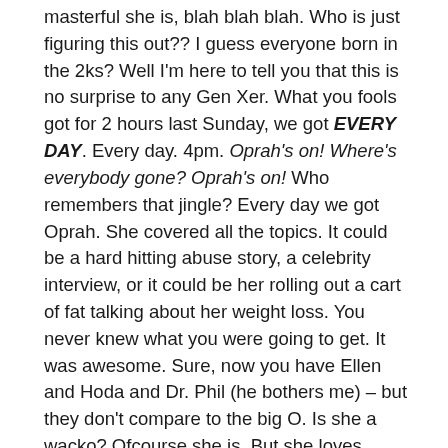masterful she is, blah blah blah. Who is just figuring this out?? I guess everyone born in the 2ks? Well I'm here to tell you that this is no surprise to any Gen Xer. What you fools got for 2 hours last Sunday, we got EVERY DAY. Every day. 4pm. Oprah's on! Where's everybody gone? Oprah's on! Who remembers that jingle? Every day we got Oprah. She covered all the topics. It could be a hard hitting abuse story, a celebrity interview, or it could be her rolling out a cart of fat talking about her weight loss. You never knew what you were going to get. It was awesome. Sure, now you have Ellen and Hoda and Dr. Phil (he bothers me) – but they don't compare to the big O. Is she a wacko? Ofcourse she is. But she loves bread. She's been on Weight Watchers for 100 years and still looks exactly the same. We know more about her BFF Gail then her man Stedman, but who cares, he seems like a bore